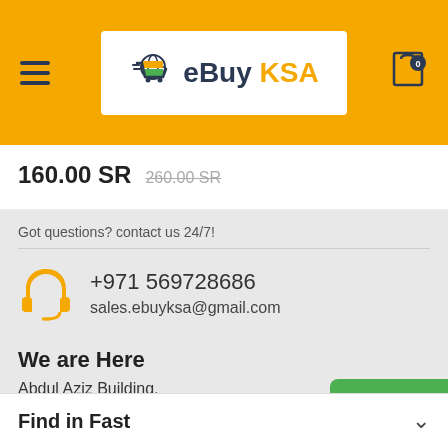[Figure (logo): eBuy KSA logo with shopping cart icon on orange header background]
160.00 SR  260.00 SR (strikethrough)
Got questions? contact us 24/7!
+971 569728686
sales.ebuyksa@gmail.com
We are Here
Abdul Aziz Building, Bur Dubai - UAE
Whats App
Find in Fast